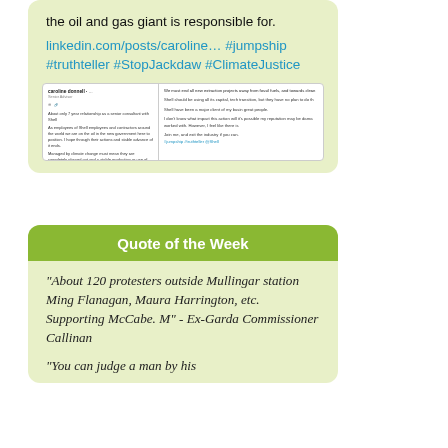the oil and gas giant is responsible for.
linkedin.com/posts/caroline… #jumpship #truthteller #StopJackdaw #ClimateJustice
[Figure (screenshot): Screenshot of a LinkedIn post about Shell and fossil fuels with text about ending new extraction projects and transitioning capital.]
Quote of the Week
"About 120 protesters outside Mullingar station Ming Flanagan, Maura Harrington, etc. Supporting McCabe. M" - Ex-Garda Commissioner Callinan
"You can judge a man by his